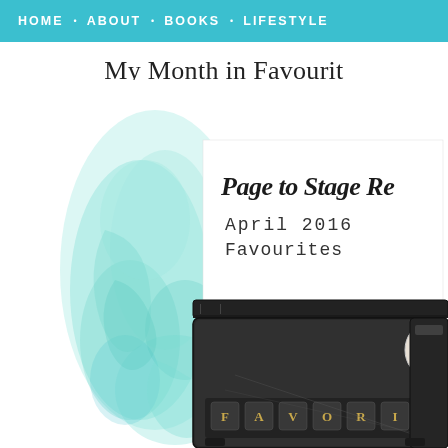HOME · ABOUT · BOOKS · LIFESTYLE
My Month in Favourit
[Figure (photo): Blog header image showing a vintage black typewriter with a white paper inserted displaying 'Page to Stage Re...' and 'April 2016 Favourites' text in script and typewriter font, set against a white and mint/teal watercolor splash background. The typewriter keys show partial text 'F A V O R I' at the bottom.]